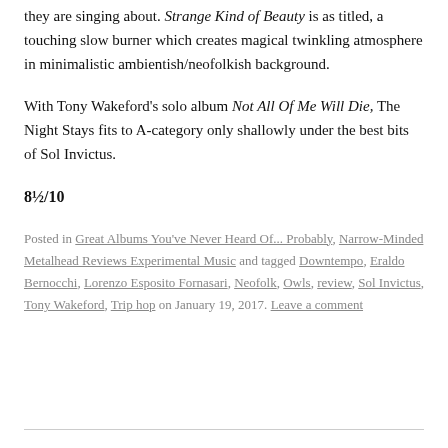they are singing about. Strange Kind of Beauty is as titled, a touching slow burner which creates magical twinkling atmosphere in minimalistic ambientish/neofolkish background.
With Tony Wakeford's solo album Not All Of Me Will Die, The Night Stays fits to A-category only shallowly under the best bits of Sol Invictus.
8½/10
Posted in Great Albums You've Never Heard Of... Probably, Narrow-Minded Metalhead Reviews Experimental Music and tagged Downtempo, Eraldo Bernocchi, Lorenzo Esposito Fornasari, Neofolk, Owls, review, Sol Invictus, Tony Wakeford, Trip hop on January 19, 2017. Leave a comment